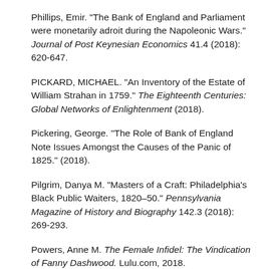Phillips, Emir. "The Bank of England and Parliament were monetarily adroit during the Napoleonic Wars." Journal of Post Keynesian Economics 41.4 (2018): 620-647.
PICKARD, MICHAEL. "An Inventory of the Estate of William Strahan in 1759." The Eighteenth Centuries: Global Networks of Enlightenment (2018).
Pickering, George. "The Role of Bank of England Note Issues Amongst the Causes of the Panic of 1825." (2018).
Pilgrim, Danya M. "Masters of a Craft: Philadelphia's Black Public Waiters, 1820–50." Pennsylvania Magazine of History and Biography 142.3 (2018): 269-293.
Powers, Anne M. The Female Infidel: The Vindication of Fanny Dashwood. Lulu.com, 2018.